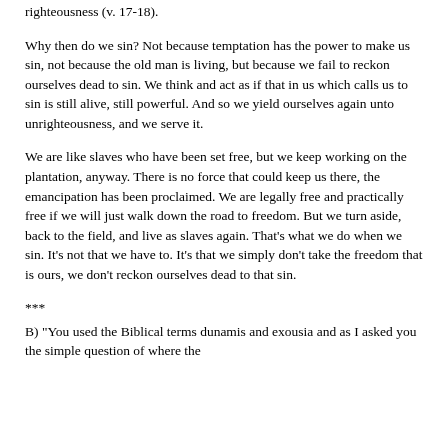righteousness (v. 17-18).
Why then do we sin? Not because temptation has the power to make us sin, not because the old man is living, but because we fail to reckon ourselves dead to sin. We think and act as if that in us which calls us to sin is still alive, still powerful. And so we yield ourselves again unto unrighteousness, and we serve it.
We are like slaves who have been set free, but we keep working on the plantation, anyway. There is no force that could keep us there, the emancipation has been proclaimed. We are legally free and practically free if we will just walk down the road to freedom. But we turn aside, back to the field, and live as slaves again. That's what we do when we sin. It's not that we have to. It's that we simply don't take the freedom that is ours, we don't reckon ourselves dead to that sin.
***
B) "You used the Biblical terms dunamis and exousia and as I asked you the simple question of where the